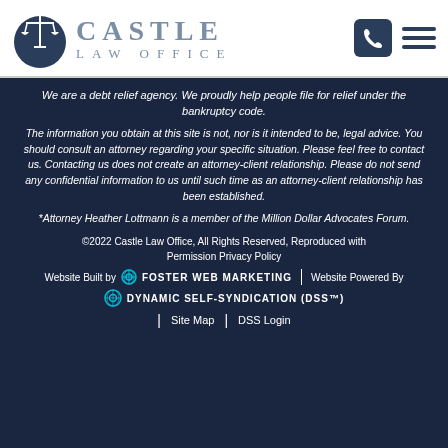[Figure (logo): Castle Law Office logo with scales of justice icon and stylized text]
We are a debt relief agency. We proudly help people file for relief under the bankruptcy code.
The information you obtain at this site is not, nor is it intended to be, legal advice. You should consult an attorney regarding your specific situation. Please feel free to contact us. Contacting us does not create an attorney-client relationship. Please do not send any confidential information to us until such time as an attorney-client relationship has been established.
*Attorney Heather Lottmann is a member of the Million Dollar Advocates Forum.
©2022 Castle Law Office, All Rights Reserved, Reproduced with Permission Privacy Policy
Website Built by FOSTER WEB MARKETING | Website Powered By DYNAMIC SELF-SYNDICATION (DSS™)
| Site Map | DSS Login